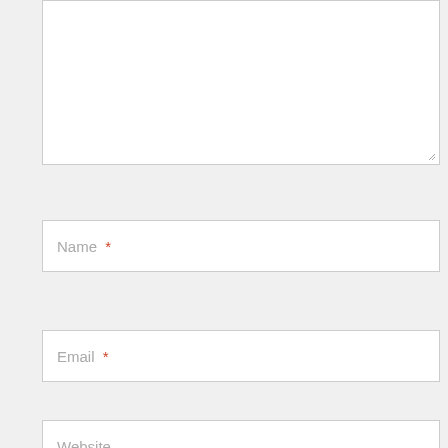[Figure (screenshot): Web form with textarea and input fields for Name, Email, and Website with placeholder text and required asterisks]
Name *
Email *
Website